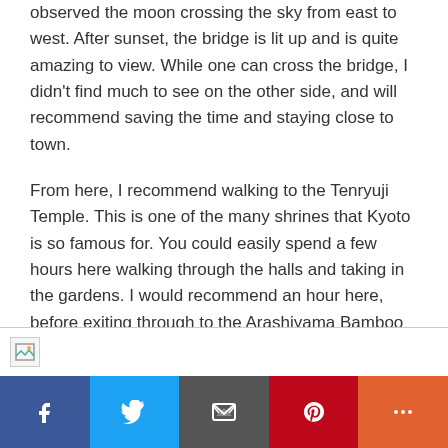observed the moon crossing the sky from east to west. After sunset, the bridge is lit up and is quite amazing to view. While one can cross the bridge, I didn't find much to see on the other side, and will recommend saving the time and staying close to town.
From here, I recommend walking to the Tenryuji Temple. This is one of the many shrines that Kyoto is so famous for. You could easily spend a few hours here walking through the halls and taking in the gardens. I would recommend an hour here, before exiting through to the Arashiyama Bamboo forest.
[Figure (photo): A broken image placeholder icon in the bottom strip of the page]
Social sharing bar with Facebook, Twitter, Email, Pinterest, and More buttons